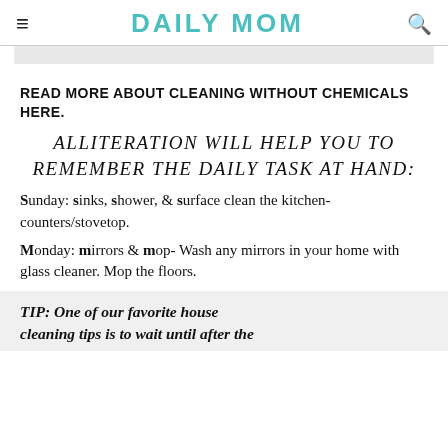DAILY MOM
READ MORE ABOUT CLEANING WITHOUT CHEMICALS HERE.
ALLITERATION WILL HELP YOU TO REMEMBER THE DAILY TASK AT HAND:
Sunday: sinks, shower, & surface clean the kitchen- counters/stovetop.
Monday: mirrors & mop- Wash any mirrors in your home with glass cleaner. Mop the floors.
TIP: One of our favorite house cleaning tips is to wait until after the